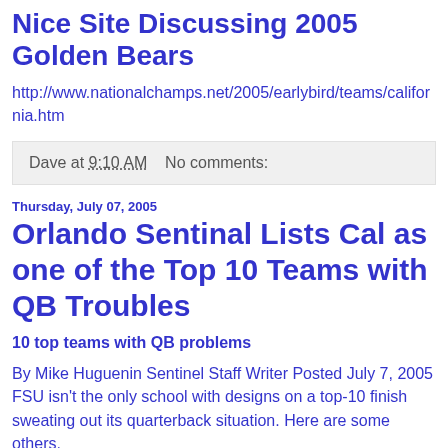Nice Site Discussing 2005 Golden Bears
http://www.nationalchamps.net/2005/earlybird/teams/california.htm
Dave at 9:10 AM    No comments:
Thursday, July 07, 2005
Orlando Sentinal Lists Cal as one of the Top 10 Teams with QB Troubles
10 top teams with QB problems
By Mike Huguenin Sentinel Staff Writer Posted July 7, 2005 FSU isn't the only school with designs on a top-10 finish sweating out its quarterback situation. Here are some others.
Auburn: Jason Campbell is gone. The new guy should be